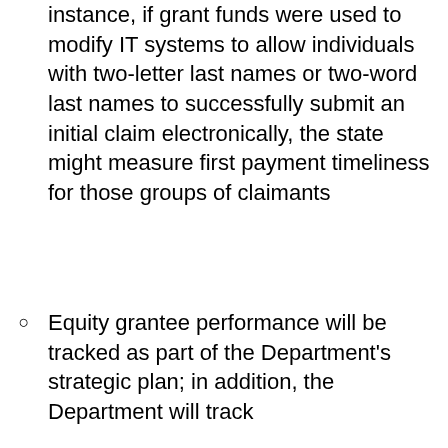instance, if grant funds were used to modify IT systems to allow individuals with two-letter last names or two-word last names to successfully submit an initial claim electronically, the state might measure first payment timeliness for those groups of claimants
Equity grantee performance will be tracked as part of the Department's strategic plan; in addition, the Department will track